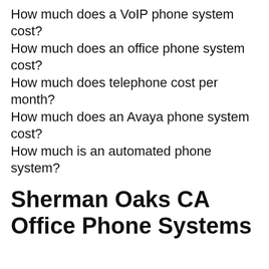How much does a VoIP phone system cost?
How much does an office phone system cost?
How much does telephone cost per month?
How much does an Avaya phone system cost?
How much is an automated phone system?
Sherman Oaks CA Office Phone Systems